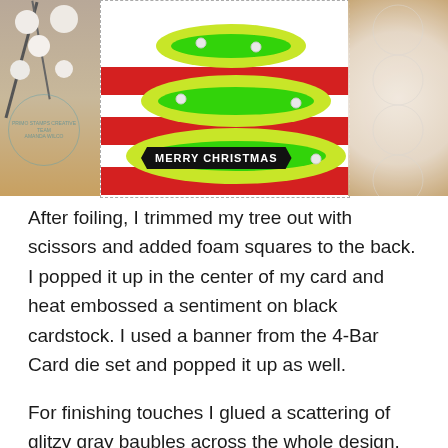[Figure (photo): A Christmas card craft photo showing a handmade card with a yellow-green foil Christmas tree on a red and white striped background. A black banner reads MERRY CHRISTMAS. The card is surrounded by cotton stems, a wooden surface, and white lace.]
After foiling, I trimmed my tree out with scissors and added foam squares to the back. I popped it up in the center of my card and heat embossed a sentiment on black cardstock. I used a banner from the 4-Bar Card die set and popped it up as well.
For finishing touches I glued a scattering of glitzy gray baubles across the whole design.
So much bright and fun shine and shimmer on this card. I